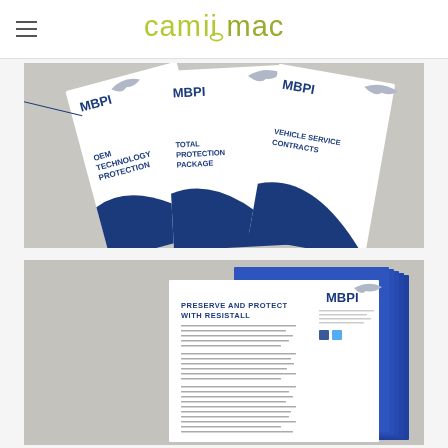camiimac (logo)
[Figure (photo): Three MBPI branded tri-fold brochures fanned out on a light gray surface. The brochures are white with a blue swoosh design. Titles visible: 'OEM Technology Protection', 'Total Protection Package', and 'Vehicle Service Contracts'. MBPI logo (bird/heron) visible on each.]
[Figure (photo): Stack of MBPI branded documents/brochures. The front page reads 'Preserve and Protect with Resistall' with body text below. MBPI logo visible on the right side. Blue and white color scheme. Multiple pages visible stacked behind.]